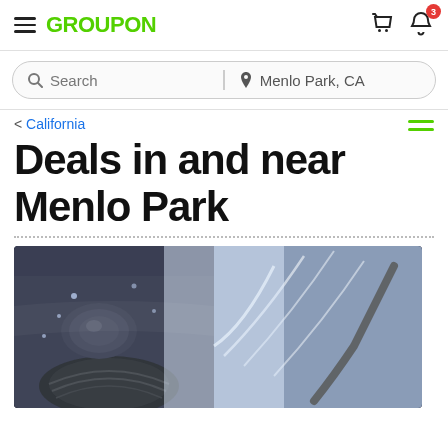GROUPON
Search | Menlo Park, CA
< California
Deals in and near Menlo Park
[Figure (photo): Car being washed with high-pressure water spray, close-up of front wheel and headlight area with water and foam splashing]